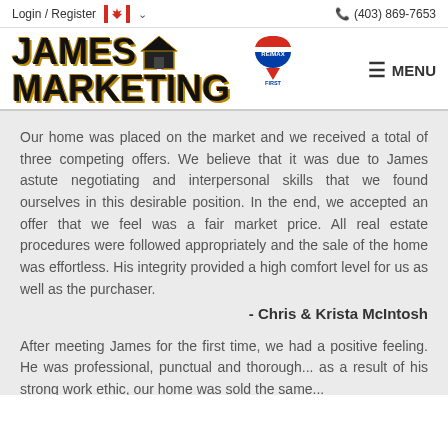Login / Register  (403) 869-7653
[Figure (logo): James Marketing logo with house icon and RE/MAX First logo]
Our home was placed on the market and we received a total of three competing offers. We believe that it was due to James astute negotiating and interpersonal skills that we found ourselves in this desirable position. In the end, we accepted an offer that we feel was a fair market price. All real estate procedures were followed appropriately and the sale of the home was effortless. His integrity provided a high comfort level for us as well as the purchaser.
- Chris & Krista McIntosh
After meeting James for the first time, we had a positive feeling. He was professional, punctual and thorough... as a result of his strong work ethic, our home was sold the same...